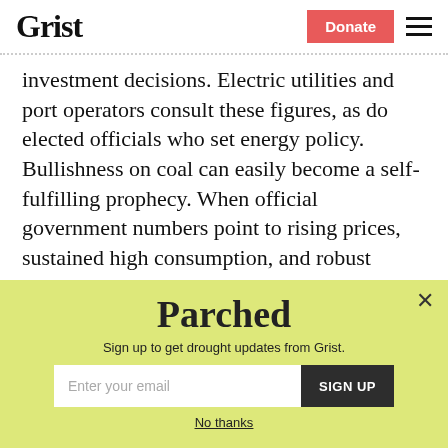Grist | Donate
investment decisions. Electric utilities and port operators consult these figures, as do elected officials who set energy policy. Bullishness on coal can easily become a self-fulfilling prophecy. When official government numbers point to rising prices, sustained high consumption, and robust
Parched
Sign up to get drought updates from Grist.
Enter your email | SIGN UP
No thanks